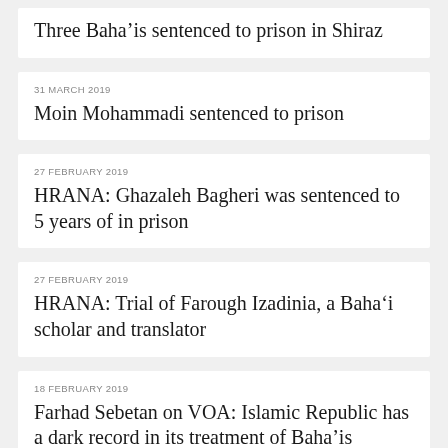Three Baha'is sentenced to prison in Shiraz
31 MARCH 2019
Moin Mohammadi sentenced to prison
27 FEBRUARY 2019
HRANA: Ghazaleh Bagheri was sentenced to 5 years of in prison
27 FEBRUARY 2019
HRANA: Trial of Farough Izadinia, a Baha'i scholar and translator
18 FEBRUARY 2019
Farhad Sebetan on VOA: Islamic Republic has a dark record in its treatment of Baha'is